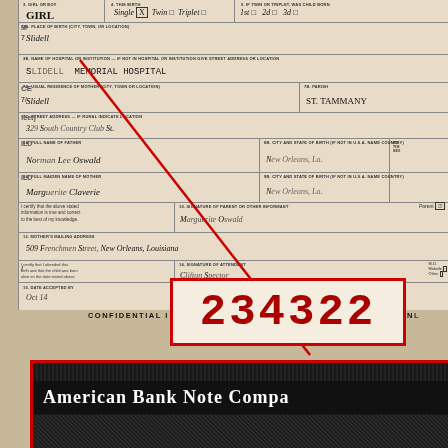[Figure (other): Louisiana birth certificate form (partial), showing handwritten entries for name, hospital, parents, address fields. A red diagonal line overlays the document pointing to a serial number box.]
3. GIRL OR BOY: GIRL  4. THIS BIRTH: Single [X] Twin [] Triplet []  5. IF TWIN OR TRIPLET, WAS CHILD BORN: 1st [] 2d [] 3d []
3A. PLACE OF BIRTH (CITY, TOWN, OR LOCATION)
3B. NAME OF HOSPITAL OR INSTITUTION — IF NOT IN HOSPITAL OR INSTITUTION GIVE STREET ADDRESS OR LOCATION
S[LIDELL] MEMORIAL HOSPITAL
7A. USUAL RESIDENCE OF MOTHER (CITY, TOWN OR LOCATION)  7B. PARISH: ST. TAMMANY
7C. STREET ADDRESS — IF RURAL INDICATE LOCATION
8A. FULL NAME OF FATHER
8A. FULL MAIDEN NAME OF MOTHER
CONFIDENTIAL INFORMATION FOR MEDICAL AND HEALTH USE ONL
This Section MUST Be Filled Out For Each Birth
234322
American Bank Note Compa